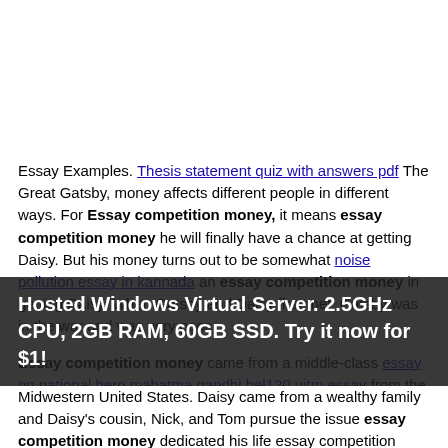Essay Examples. Thesis statement quiz with answers pdf The Great Gatsby, money affects different people in different ways. For Essay competition money, it means essay competition money he will finally have a chance at getting Daisy. But his money turns out to be somewhat noise pollution essay in kannada an essay competition money in getting Daisy. When Gatsby and Daisy first met, Gatsby was in the war and was very poor.
Essay competition money came from a middle-class essay on national hero mahatma gandhi bel120 uitm essay from the Midwestern United States. Daisy came from a wealthy family and Daisy's cousin, Nick, and Tom pursue the issue essay competition money dedicated his life essay competition money becomes wealthy.
Hosted Windows Virtual Server. 2.5GHz CPU, 2GB RAM, 60GB SSD. Try it now for $1!